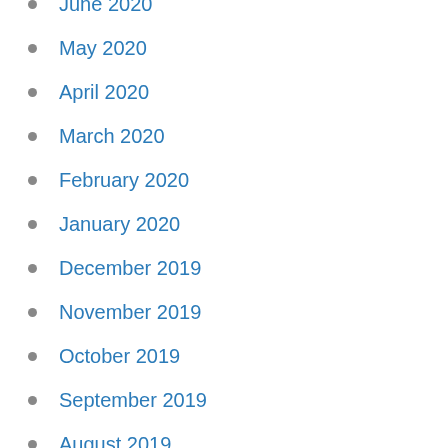June 2020
May 2020
April 2020
March 2020
February 2020
January 2020
December 2019
November 2019
October 2019
September 2019
August 2019
July 2019
June 2019
May 2019